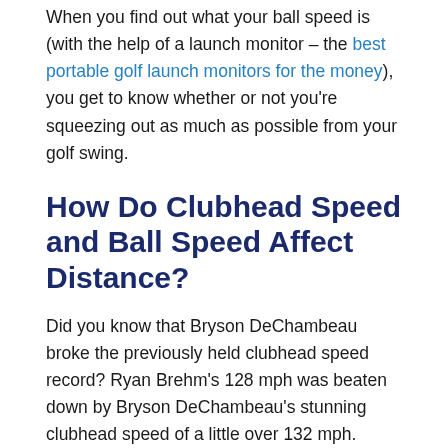When you find out what your ball speed is (with the help of a launch monitor – the best portable golf launch monitors for the money), you get to know whether or not you're squeezing out as much as possible from your golf swing.
How Do Clubhead Speed and Ball Speed Affect Distance?
Did you know that Bryson DeChambeau broke the previously held clubhead speed record? Ryan Brehm's 128 mph was beaten down by Bryson DeChambeau's stunning clubhead speed of a little over 132 mph. Although that